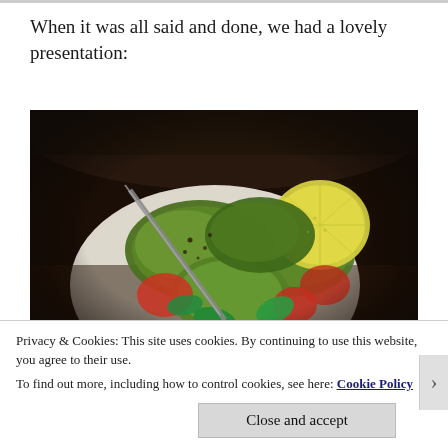When it was all said and done, we had a lovely presentation:
[Figure (photo): A bowl of salad with avocado slices, lemon wedge, tomato pieces, and mint leaves, photographed in dim restaurant lighting from above]
Privacy & Cookies: This site uses cookies. By continuing to use this website, you agree to their use.
To find out more, including how to control cookies, see here: Cookie Policy
Close and accept